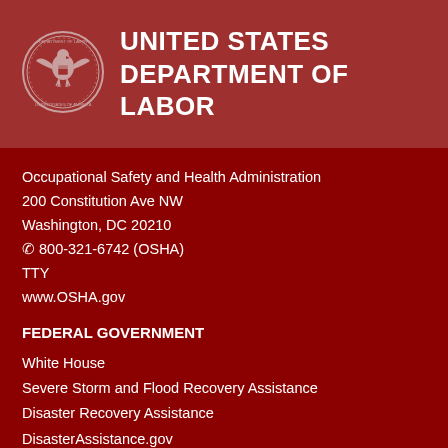[Figure (logo): United States Department of Labor seal - circular seal with eagle and shield]
UNITED STATES DEPARTMENT OF LABOR
Occupational Safety and Health Administration
200 Constitution Ave NW
Washington, DC 20210
☎ 800-321-6742 (OSHA)
TTY
www.OSHA.gov
FEDERAL GOVERNMENT
White House
Severe Storm and Flood Recovery Assistance
Disaster Recovery Assistance
DisasterAssistance.gov
USA.gov
No Fear Act Data
U.S. Office of Special Counsel